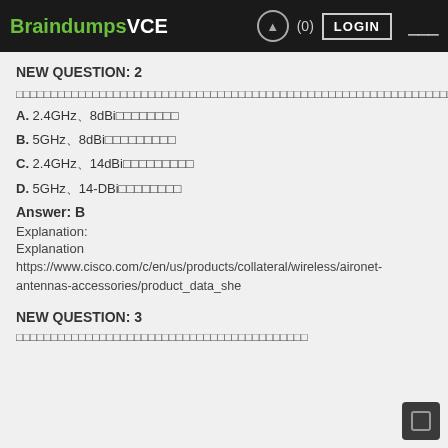BraindumpsVCE (0) LOGIN
NEW QUESTION: 2
□□□□□□□□□□□□□□□□□□□□□□□□□□□□□□□□□□□□□□□□□□□□□□□□□□□□□□□□□□□□□□□□□□□□□□□□□□□□□□□□□□□□□□□□□□□□□□□□□□□□□□□□□□□□□□□□□□□□□□□□□□□□□□□□□□□□□□□□□□□□□□□□□□□□□□RAP□□□□□□□□□□□□□□□□
A. 2.4GHz、8dBi□□□□□□□□
B. 5GHz、8dBi□□□□□□□□□
C. 2.4GHz、14dBi□□□□□□□□□
D. 5GHz、14-DBi□□□□□□□□
Answer: B
Explanation:
Explanation
https://www.cisco.com/c/en/us/products/collateral/wireless/aironet-antennas-accessories/product_data_she
NEW QUESTION: 3
□□□□□□□□□□□□□□□□□□□□□□□□□□□□□□□□□□□□□□□□□□